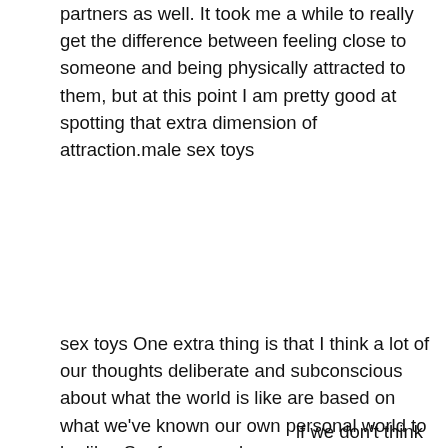partners as well. It took me a while to really get the difference between feeling close to someone and being physically attracted to them, but at this point I am pretty good at spotting that extra dimension of attraction.male sex toys
sex toys One extra thing is that I think a lot of our thoughts deliberate and subconscious about what the world is like are based on what we've known our own personal world to be like. So, for example,
[Figure (photo): Three rabbit-style vibrators in pink, dark pink/purple, and purple colors with gold bases, shown side by side with slight reflections beneath them. A small heart logo with figures appears to the upper right.]
if we don't think that women